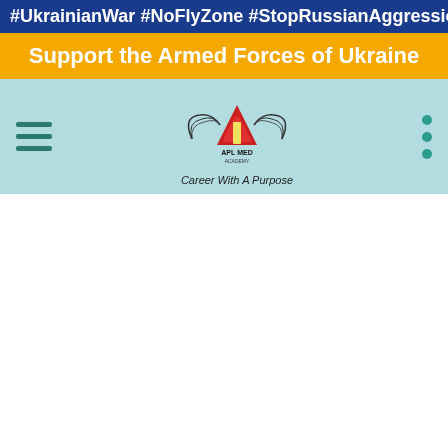#UkrainianWar #NoFlyZone #StopRussianAggression
Support the Armed Forces of Ukraine
[Figure (logo): APL MED Academy logo with wings and tagline 'Career With A Purpose']